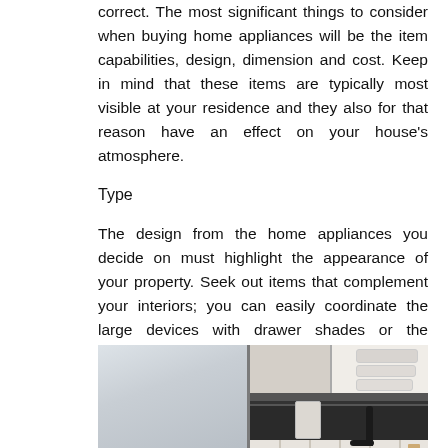correct. The most significant things to consider when buying home appliances will be the item capabilities, design, dimension and cost. Keep in mind that these items are typically most visible at your residence and they also for that reason have an effect on your house's atmosphere.
Type
The design from the home appliances you decide on must highlight the appearance of your property. Seek out items that complement your interiors; you can easily coordinate the large devices with drawer shades or the woodwork provide.
[Figure (photo): Kitchen photo split into two panels: left panel shows a gray/silver refrigerator surface, right panel shows a kitchen interior with white tile backsplash, open shelving with stacked white plates/bowls, a paper towel holder, and a black faucet.]